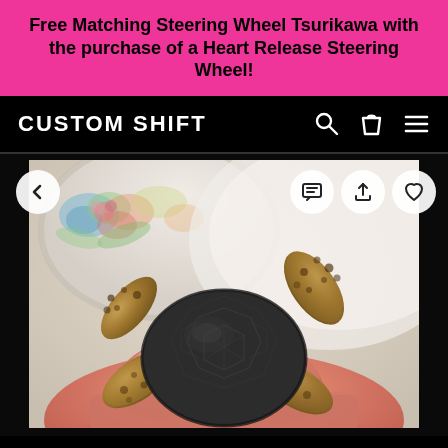Free Matching Steering Wheel Tsurikawa with the purchase of a Heart Release Steering Wheel!
CUSTOM SHIFT
[Figure (photo): A tiny sea turtle figurine/toy held between two fingers. The turtle has a dark grey/black shell with a hexagonal pattern and brown/tan textured flippers. Background shows a white floral-patterned plate blurred out of focus.]